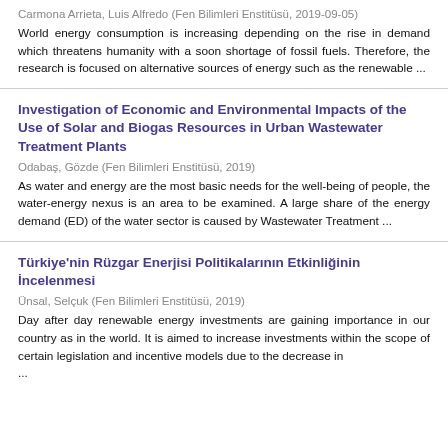Carmona Arrieta, Luis Alfredo (Fen Bilimleri Enstitüsü, 2019-09-05)
World energy consumption is increasing depending on the rise in demand which threatens humanity with a soon shortage of fossil fuels. Therefore, the research is focused on alternative sources of energy such as the renewable ...
Investigation of Economic and Environmental Impacts of the Use of Solar and Biogas Resources in Urban Wastewater Treatment Plants
Odabaş, Gözde (Fen Bilimleri Enstitüsü, 2019)
As water and energy are the most basic needs for the well-being of people, the water-energy nexus is an area to be examined. A large share of the energy demand (ED) of the water sector is caused by Wastewater Treatment ...
Türkiye'nin Rüzgar Enerjisi Politikalarının Etkinliğinin İncelenmesi
Ünsal, Selçuk (Fen Bilimleri Enstitüsü, 2019)
Day after day renewable energy investments are gaining importance in our country as in the world. It is aimed to increase investments within the scope of certain legislation and incentive models due to the decrease in ...